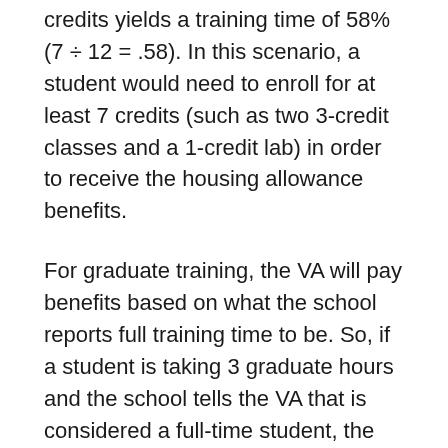credits yields a training time of 58% (7 ÷ 12 = .58). In this scenario, a student would need to enroll for at least 7 credits (such as two 3-credit classes and a 1-credit lab) in order to receive the housing allowance benefits.
For graduate training, the VA will pay benefits based on what the school reports full training time to be. So, if a student is taking 3 graduate hours and the school tells the VA that is considered a full-time student, the VA will pay at the full-time rate.
Once the training time is determined, the monthly housing allowance is paid at the nearest 10% level. For instance, if a student's training time is